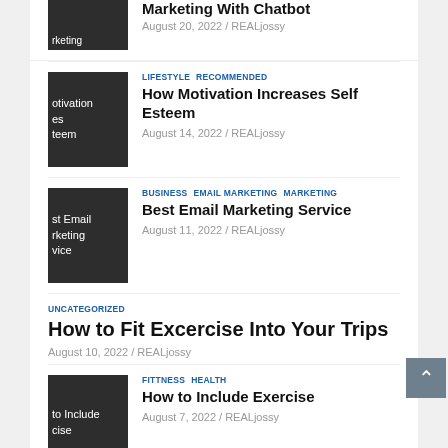[Figure (photo): Partial thumbnail image with text 'rketing' visible on dark background]
Marketing With Chatbot
August 20, 2022 / REALjossy
LIFESTYLE  RECOMMENDED
[Figure (photo): Dark thumbnail with text 'otivation es teem']
How Motivation Increases Self Esteem
August 14, 2022 / REALjossy
BUSINESS  EMAIL MARKETING  MARKETING
[Figure (photo): Dark thumbnail with text 'st Email rketing vice']
Best Email Marketing Service
August 11, 2022 / REALjossy
UNCATEGORIZED
How to Fit Excercise Into Your Trips
August 10, 2022 / REALjossy
FITTNESS  HEALTH
[Figure (photo): Dark thumbnail with text 'to Include cise']
How to Include Exercise
August 7, 2022 / REALjossy